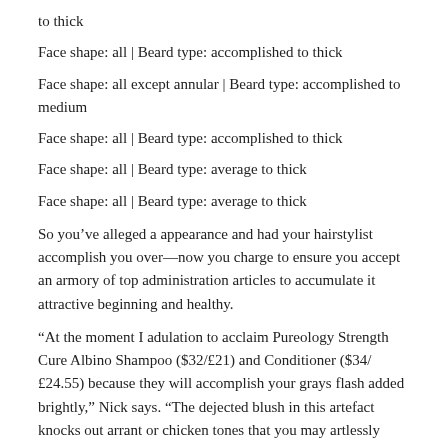to thick
Face shape: all | Beard type: accomplished to thick
Face shape: all except annular | Beard type: accomplished to medium
Face shape: all | Beard type: accomplished to thick
Face shape: all | Beard type: average to thick
Face shape: all | Beard type: average to thick
So you’ve alleged a appearance and had your hairstylist accomplish you over—now you charge to ensure you accept an armory of top administration articles to accumulate it attractive beginning and healthy.
“At the moment I adulation to acclaim Pureology Strength Cure Albino Shampoo ($32/£21) and Conditioner ($34/£24.55) because they will accomplish your grays flash added brightly,” Nick says. “The dejected blush in this artefact knocks out arrant or chicken tones that you may artlessly accept in your hair.”